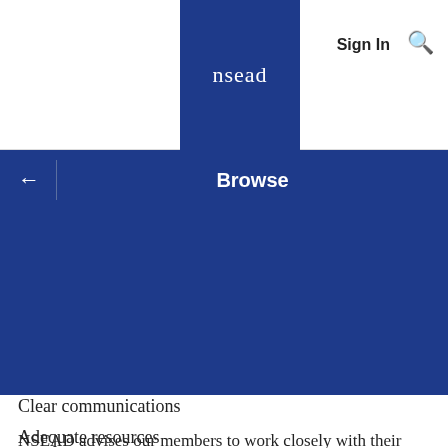nsead | Sign In
Browse
[Figure (other): Large blue rectangular area — navigation/hero area of NSEAD website]
Clear communications
Adequate resources
NSEAD advises our members to work closely with their school management teams and to ask that the risk assessment for their setting takes full account of their needs, and their right to take necessary measures to